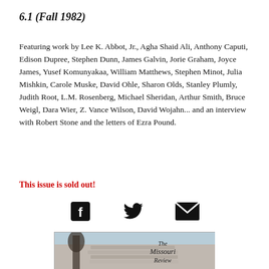6.1 (Fall 1982)
Featuring work by Lee K. Abbot, Jr., Agha Shaid Ali, Anthony Caputi, Edison Dupree, Stephen Dunn, James Galvin, Jorie Graham, Joyce James, Yusef Komunyakaa, William Matthews, Stephen Minot, Julia Mishkin, Carole Muske, David Ohle, Sharon Olds, Stanley Plumly, Judith Root, L.M. Rosenberg, Michael Sheridan, Arthur Smith, Bruce Weigl, Dara Wier, Z. Vance Wilson, David Wojahn... and an interview with Robert Stone and the letters of Ezra Pound.
This issue is sold out!
[Figure (other): Social media icons: Facebook, Twitter, Email]
[Figure (photo): Cover image of The Missouri Review issue 6.1 showing a landscape with a tree and the journal title in italic script]